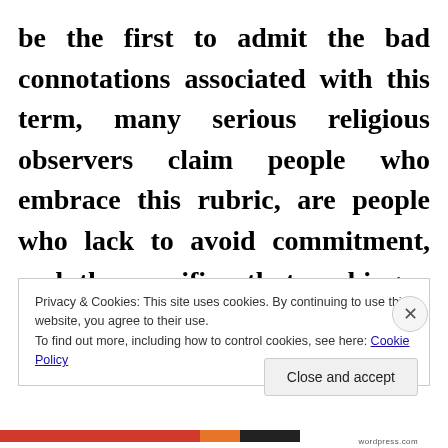be the first to admit the bad connotations associated with this term, many serious religious observers claim people who embrace this rubric, are people who lack to avoid commitment, and the sacrifice that making a difference in embracing a
Privacy & Cookies: This site uses cookies. By continuing to use this website, you agree to their use.
To find out more, including how to control cookies, see here: Cookie Policy
Close and accept